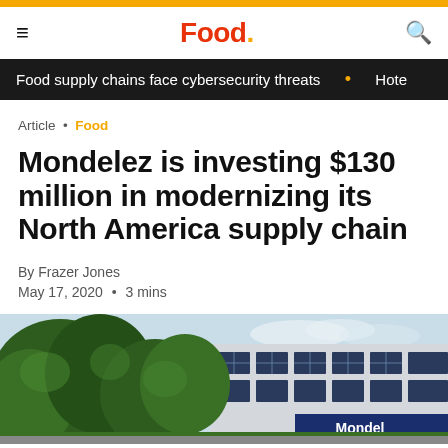Food.
Food supply chains face cybersecurity threats • Hote
Article • Food
Mondelez is investing $130 million in modernizing its North America supply chain
By Frazer Jones
May 17, 2020 • 3 mins
[Figure (photo): Exterior of a Mondelez building with trees in foreground and large windowed facade visible]